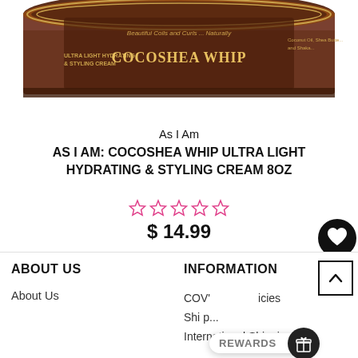[Figure (photo): Brown jar of As I Am CocoShea Whip Ultra Light Hydrating & Styling Cream, partially cropped at top of page]
As I Am
AS I AM: COCOSHEA WHIP ULTRA LIGHT HYDRATING & STYLING CREAM 8OZ
[Figure (other): Five empty/outline star rating icons in pink/magenta color]
$ 14.99
ABOUT US
About Us
INFORMATION
COV'...icies
Ship...
International Shipping!
[Figure (other): REWARDS button with gift icon in black circle]